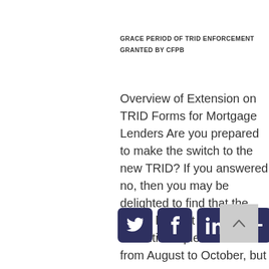GRACE PERIOD OF TRID ENFORCEMENT GRANTED BY CFPB
Overview of Extension on TRID Forms for Mortgage Lenders Are you prepared to make the switch to the new TRID? If you answered no, then you may be delighted to find that the CFPB has not only delayed the initial implementation from August to October, but
[Figure (infographic): Four dark navy rounded-square social media buttons: Twitter (bird icon), Facebook (f icon), LinkedIn (in icon), and a plus (+) icon. A grey square scroll-to-top button with an upward arrow chevron appears to the right.]